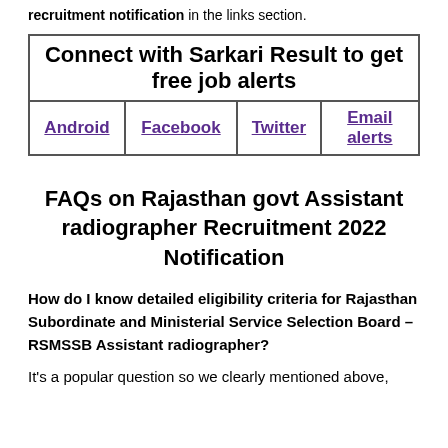recruitment notification in the links section.
| Connect with Sarkari Result to get free job alerts |
| --- |
| Android | Facebook | Twitter | Email alerts |
FAQs on Rajasthan govt Assistant radiographer Recruitment 2022 Notification
How do I know detailed eligibility criteria for Rajasthan Subordinate and Ministerial Service Selection Board – RSMSSB Assistant radiographer?
It's a popular question so we clearly mentioned above,